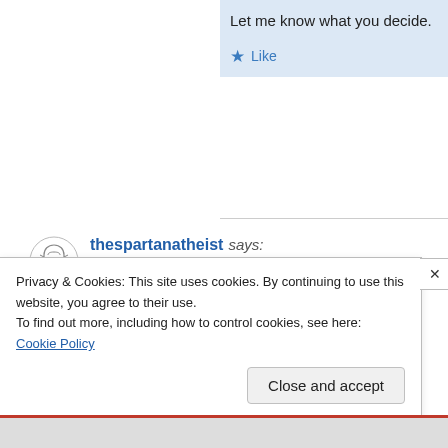Let me know what you decide.
★ Like
thespartanatheist says:
May 15, 2018 at 9:26 pm
No, I was trying to keep the conve... confusing, which happens when o... points. I was trying to stick to one. I don't believe in God. From that s... nothing at all about where I get m...
Privacy & Cookies: This site uses cookies. By continuing to use this website, you agree to their use.
To find out more, including how to control cookies, see here: Cookie Policy
Close and accept